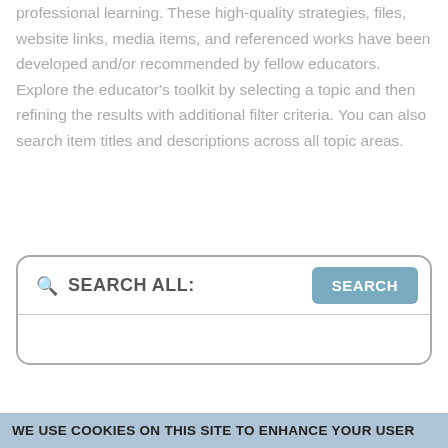professional learning. These high-quality strategies, files, website links, media items, and referenced works have been developed and/or recommended by fellow educators. Explore the educator's toolkit by selecting a topic and then refining the results with additional filter criteria. You can also search item titles and descriptions across all topic areas.
[Figure (screenshot): Search bar UI element with magnifying glass icon, 'SEARCH ALL:' label, and a blue 'SEARCH' button, set inside a rounded rectangle container.]
WE USE COOKIES ON THIS SITE TO ENHANCE YOUR USER